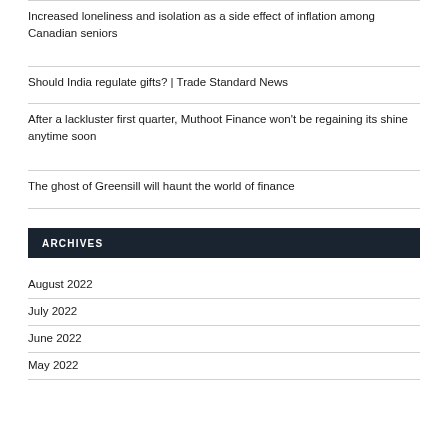Increased loneliness and isolation as a side effect of inflation among Canadian seniors
Should India regulate gifts? | Trade Standard News
After a lackluster first quarter, Muthoot Finance won't be regaining its shine anytime soon
The ghost of Greensill will haunt the world of finance
ARCHIVES
August 2022
July 2022
June 2022
May 2022